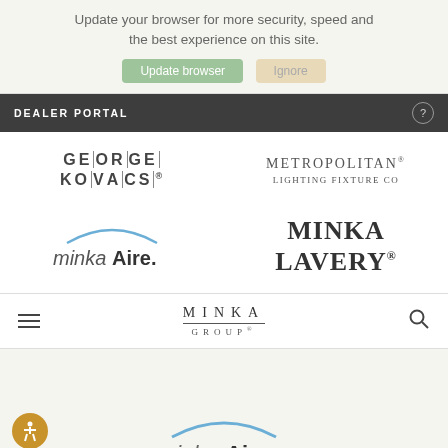Update your browser for more security, speed and the best experience on this site.
Update browser | Ignore
DEALER PORTAL
[Figure (logo): George Kovacs logo - text with pipe separators between letters]
[Figure (logo): Metropolitan Lighting Fixture Co logo]
[Figure (logo): minkaAire logo with arc above text]
[Figure (logo): Minka Lavery logo in serif bold font]
[Figure (logo): Minka Group navigation bar logo]
[Figure (logo): Partial minkaAire logo at bottom of page]